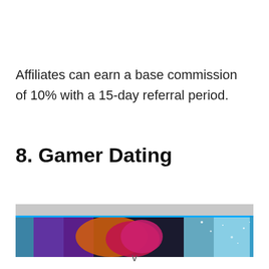Affiliates can earn a base commission of 10% with a 15-day referral period.
8. Gamer Dating
[Figure (photo): Colorful banner image for Gamer Dating website with purple, orange, red and cyan/blue cosmic or fantasy themed imagery]
v